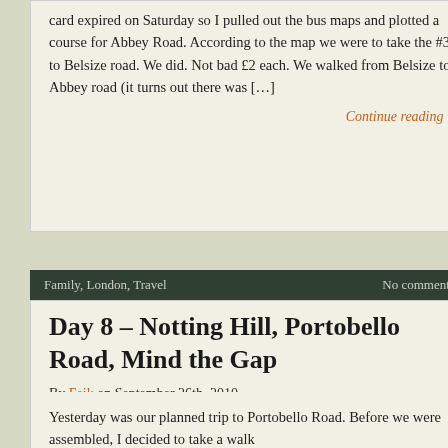card expired on Saturday so I pulled out the bus maps and plotted a course for Abbey Road. According to the map we were to take the #31 to Belsize road. We did. Not bad £2 each. We walked from Belsize to Abbey road (it turns out there was […]
Continue reading →
Family, London, Travel    No comments yet
Day 8 – Notting Hill, Portobello Road, Mind the Gap
By Feik on September 26th, 2010
Yesterday was our planned trip to Portobello Road. Before we were assembled, I decided to take a walk